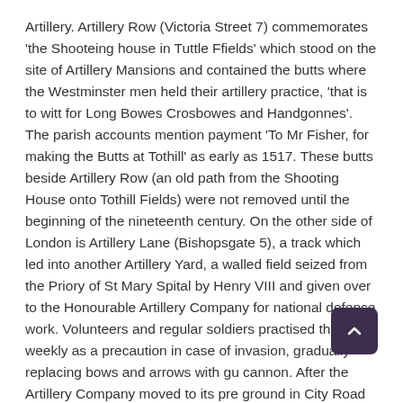Artillery. Artillery Row (Victoria Street 7) commemorates 'the Shooteing house in Tuttle Ffields' which stood on the site of Artillery Mansions and contained the butts where the Westminster men held their artillery practice, 'that is to witt for Long Bowes Crosbowes and Handgonnes'. The parish accounts mention payment 'To Mr Fisher, for making the Butts at Tothill' as early as 1517. These butts beside Artillery Row (an old path from the Shooting House onto Tothill Fields) were not removed until the beginning of the nineteenth century. On the other side of London is Artillery Lane (Bishopsgate 5), a track which led into another Artillery Yard, a walled field seized from the Priory of St Mary Spital by Henry VIII and given over to the Honourable Artillery Company for national defence work. Volunteers and regular soldiers practised there weekly as a precaution in case of invasion, gradually replacing bows and arrows with gu cannon. After the Artillery Company moved to its pre ground in City Road in 1641, Gun Street and Fort Street were